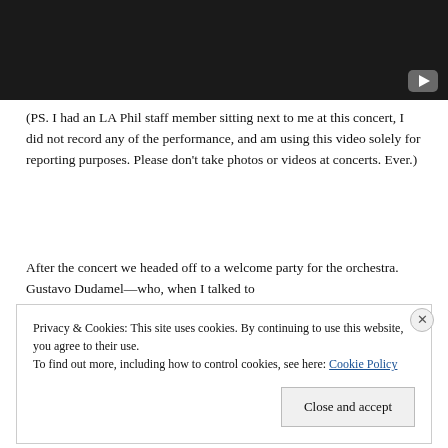[Figure (screenshot): Dark/black video thumbnail with a YouTube-style play button in the lower right corner]
(PS. I had an LA Phil staff member sitting next to me at this concert, I did not record any of the performance, and am using this video solely for reporting purposes. Please don't take photos or videos at concerts. Ever.)
After the concert we headed off to a welcome party for the orchestra. Gustavo Dudamel—who, when I talked to
Privacy & Cookies: This site uses cookies. By continuing to use this website, you agree to their use.
To find out more, including how to control cookies, see here: Cookie Policy
Close and accept